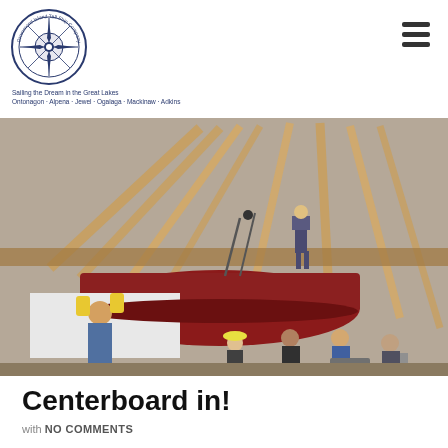Drummond Island Tall Ship Company – Sailing the Dream in the Great Lakes – Ontonagon – Alpena – Jewel – Ogalaga – Mackinaw – Adkins
[Figure (photo): Workers inside a wooden boat-building workshop with timber-frame roof, lifting a large dark red centerboard into a boat hull using chains and rigging. Several volunteers in work clothes assist.]
Centerboard in!
with NO COMMENTS
May 24, 2017 May saw a lot of activity at Schooner House. We had a number of out-of-town volunteers come to help. They are all hard at first raising when the arriving loads...